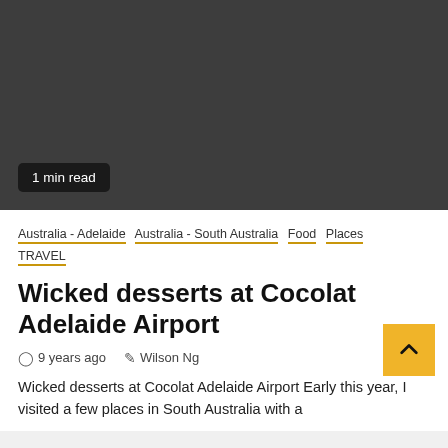[Figure (photo): Dark grey/charcoal background image area representing an article hero image]
1 min read
Australia - Adelaide  Australia - South Australia  Food  Places  TRAVEL
Wicked desserts at Cocolat Adelaide Airport
9 years ago  Wilson Ng
Wicked desserts at Cocolat Adelaide Airport Early this year, I visited a few places in South Australia with a